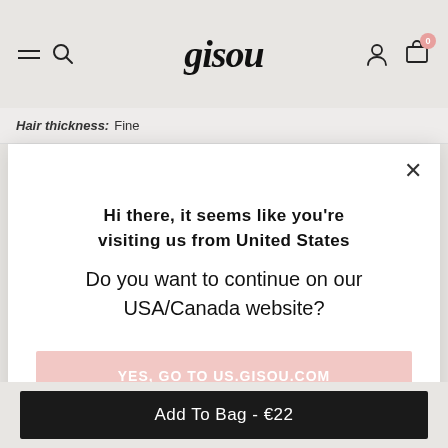gisou
Hair thickness: Fine
Hi there, it seems like you're visiting us from United States
Do you want to continue on our USA/Canada website?
Yes, Go To Us.Gisou.Com
Stay on EU website
Add To Bag - €22